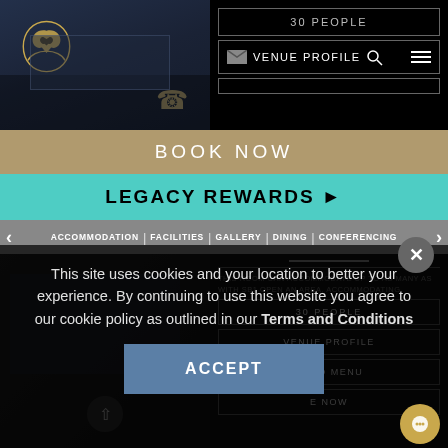[Figure (screenshot): Hotel/venue website header showing logo on dark background with phone icon and conference room image]
30 PEOPLE
VENUE PROFILE
BOOK NOW
LEGACY REWARDS ▶
ACCOMMODATION
FACILITIES
GALLERY
DINING
CONFERENCING
THIS ROOM CAN ACCOMMODATE UP TO AS MANY AS WITH SB1 OPEN AN AREA, ACCOMMODATING
30 PEOPLE
VENUE PROFILE
FOOD MENU
E NOW
This site uses cookies and your location to better your experience. By continuing to use this website you agree to our cookie policy as outlined in our Terms and Conditions
ACCEPT